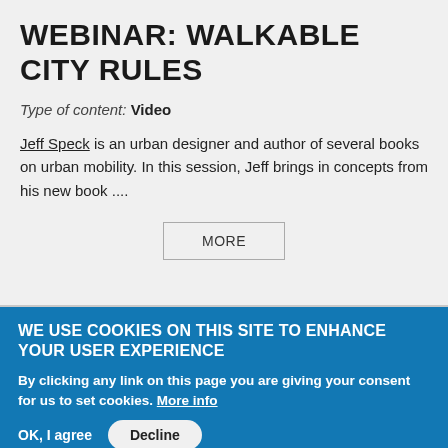WEBINAR: WALKABLE CITY RULES
Type of content: Video
Jeff Speck is an urban designer and author of several books on urban mobility. In this session, Jeff brings in concepts from his new book ....
MORE
WE USE COOKIES ON THIS SITE TO ENHANCE YOUR USER EXPERIENCE
By clicking any link on this page you are giving your consent for us to set cookies. More info
OK, I agree   Decline